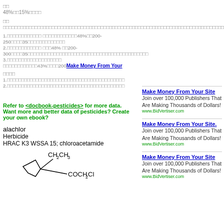□□
48%□□15%□□□□
□□
□□□□□□□□□□□□□□□□□□□□□□□□□□□□□□□□□□□□□□□□□□□□□□□□□□□□□□□□□□□□□□□□□□□□□□□□□□□□□□□□□□□□□□□□□□□□□□□□□□□□□□□□□□□□□□□□□□□□□□□□□□□□□□□□□□□□□□□□□□□□□□□□□□□□□□□□□□□□□□□□□□□□□□□□□□□□□□□□□□□□□□□□□□□□□□□□1□□□□□□□□□□□□□□□□
1.□□□□□□□□□□□□ □□□□□□□□□□□□48%□□200-250□□□□35□□□□□□□□□□□□□
2.□□□□□□□□□□□□ □□□48% □□200-300□□□□35□□□□□□□□□□□□□□□□□□□□□□□□□□□□□□□□□□□□□□□□□□
3.□□□□□□□□□□□□□□□□□□□ □□□□□□□□□□□□43%□□□□200□□□□□□□□□□□□□□□□□□□□□□□□□□□
□□□□
1.□□□□□□□□□□□□□□□□□□□□□□□□□□□□□□□□□□□□□□□□□
2.□□□□□□□□□□□□□□□□□□□□□□□□□□□□□□□□□□□□□□□□□
Refer to <docbook-pesticides> for more data.
Want more and better data of pesticides? Create your own ebook?
alachlor
Herbicide
HRAC K3 WSSA 15; chloroacetamide
[Figure (engineering-diagram): Chemical structure of alachlor showing CH2CH3 group and COCH2Cl group]
[Figure (other): Advertisement: Make Money From Your Site - BidVertiser.com - repeated 3 times]